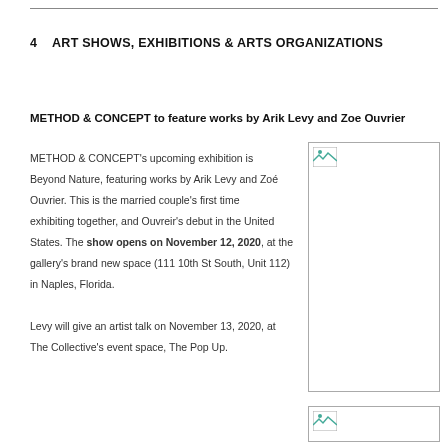4    ART SHOWS, EXHIBITIONS & ARTS ORGANIZATIONS
METHOD & CONCEPT to feature works by Arik Levy and Zoe Ouvrier
METHOD & CONCEPT's upcoming exhibition is Beyond Nature, featuring works by Arik Levy and Zoé Ouvrier. This is the married couple's first time exhibiting together, and Ouvreir's debut in the United States. The show opens on November 12, 2020, at the gallery's brand new space (111 10th St South, Unit 112) in Naples, Florida.

Levy will give an artist talk on November 13, 2020, at The Collective's event space, The Pop Up.
[Figure (photo): Placeholder image (broken image icon) — artwork photo not loaded]
[Figure (photo): Placeholder image (broken image icon) — second artwork photo not loaded]